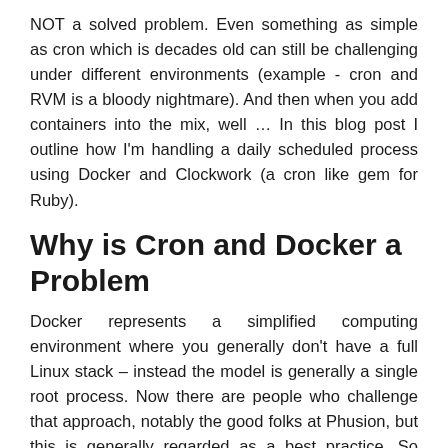NOT a solved problem. Even something as simple as cron which is decades old can still be challenging under different environments (example - cron and RVM is a bloody nightmare). And then when you add containers into the mix, well … In this blog post I outline how I'm handling a daily scheduled process using Docker and Clockwork (a cron like gem for Ruby).
Why is Cron and Docker a Problem
Docker represents a simplified computing environment where you generally don't have a full Linux stack – instead the model is generally a single root process. Now there are people who challenge that approach, notably the good folks at Phusion, but this is generally regarded as a best practice. So you're not your own application stack and then cron as well.
Enter Clockwork